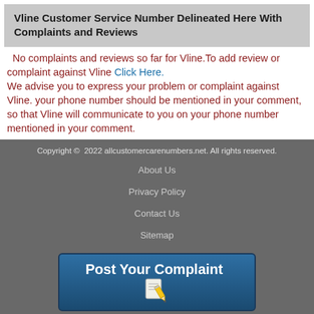Vline Customer Service Number Delineated Here With Complaints and Reviews
No complaints and reviews so far for Vline.To add review or complaint against Vline Click Here.
We advise you to express your problem or complaint against Vline. your phone number should be mentioned in your comment, so that Vline will communicate to you on your phone number mentioned in your comment.
Copyright © 2022 allcustomercarenumbers.net. All rights reserved.
About Us
Privacy Policy
Contact Us
Sitemap
[Figure (other): Post Your Complaint button with pencil icon]